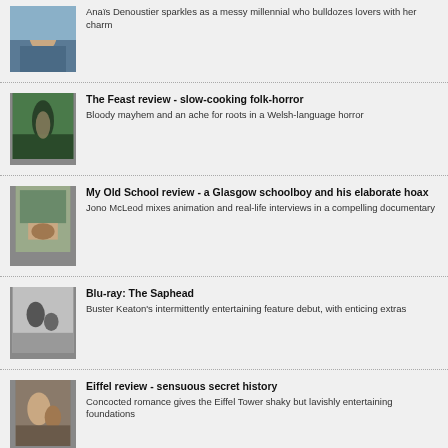Anaïs Denoustier sparkles as a messy millennial who bulldozes lovers with her charm
The Feast review - slow-cooking folk-horror
Bloody mayhem and an ache for roots in a Welsh-language horror
My Old School review - a Glasgow schoolboy and his elaborate hoax
Jono McLeod mixes animation and real-life interviews in a compelling documentary
Blu-ray: The Saphead
Buster Keaton's intermittently entertaining feature debut, with enticing extras
Eiffel review - sensuous secret history
Concocted romance gives the Eiffel Tower shaky but lavishly entertaining foundations
Nope review – more a nope than a yep